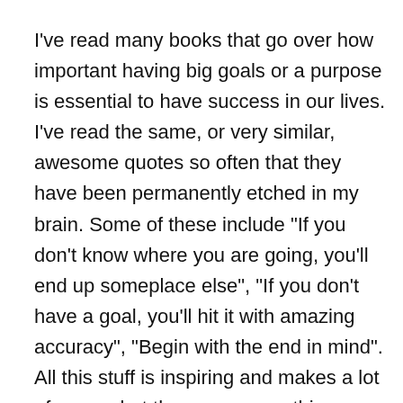I've read many books that go over how important having big goals or a purpose is essential to have success in our lives. I've read the same, or very similar, awesome quotes so often that they have been permanently etched in my brain. Some of these include "If you don't know where you are going, you'll end up someplace else", "If you don't have a goal, you'll hit it with amazing accuracy", "Begin with the end in mind". All this stuff is inspiring and makes a lot of sense, but there was something missing.
I was asked a question at the end of the last session that really made me realize what that something was. I was asked "what books can you recommend to help me discover my purpose". I came to realize that of all the books I read, and all the talks I heard on the importance of finding a purpose or of creating good mission statement for our life, I could never recommend one that is a really